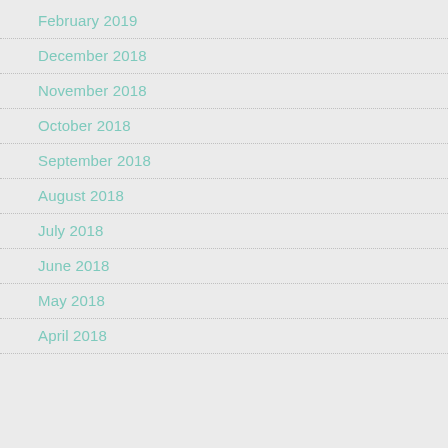February 2019
December 2018
November 2018
October 2018
September 2018
August 2018
July 2018
June 2018
May 2018
April 2018